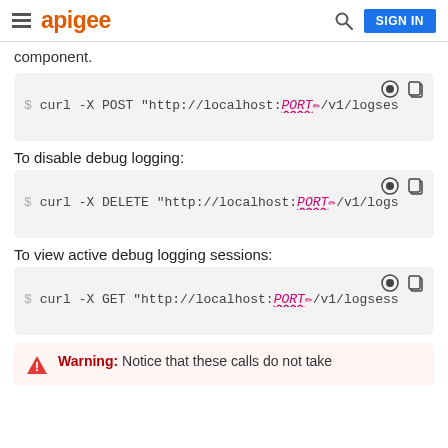apigee  SIGN IN
component.
[Figure (screenshot): Code block: $ curl -X POST "http://localhost:PORT/v1/logses..."]
To disable debug logging:
[Figure (screenshot): Code block: $ curl -X DELETE "http://localhost:PORT/v1/logs..."]
To view active debug logging sessions:
[Figure (screenshot): Code block: $ curl -X GET "http://localhost:PORT/v1/logsess..."]
Warning: Notice that these calls do not take